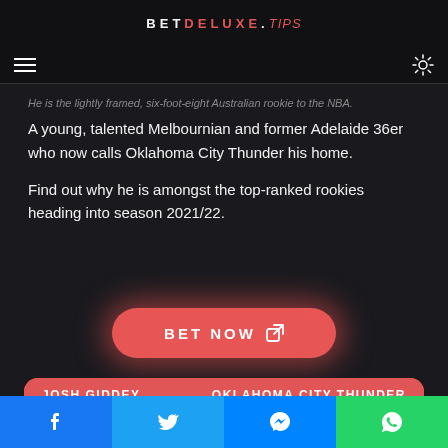BETDELUXE.tips
He is the lightly framed, six-foot-eight Australian rookie to the NBA.
A young, talented Melbournian and former Adelaide 36er who now calls Oklahoma City Thunder his home.
Find out why he is amongst the top-ranked rookies heading into season 2021/22.
[Figure (other): BET NOW button with external link icon, red with glow effect]
| JOSH GIDDEY | OKLAHOMA CITY THUNDER |
| --- | --- |
[Figure (other): Social media share bar with Facebook, Twitter, Messenger, and WhatsApp buttons]